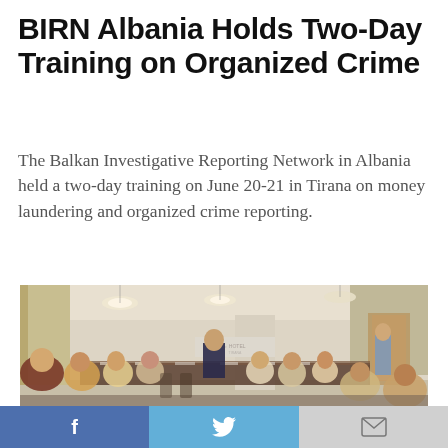BIRN Albania Holds Two-Day Training on Organized Crime
The Balkan Investigative Reporting Network in Albania held a two-day training on June 20-21 in Tirana on money laundering and organized crime reporting.
[Figure (photo): A conference room scene showing a group of people seated around a long table in a hotel meeting room, with the hotel logo visible on the wall. Participants appear to be attending a training session.]
f  [Facebook]  |  [Twitter bird]  |  [Email envelope]